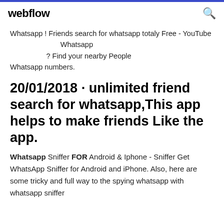webflow
Whatsapp ! Friends search for whatsapp totaly Free - YouTube                              Whatsapp                  ? Find your nearby People Whatsapp numbers.
20/01/2018 · unlimited friend search for whatsapp,This app helps to make friends Like the app.
Whatsapp Sniffer FOR Android & Iphone - Sniffer Get WhatsApp Sniffer for Android and iPhone. Also, here are some tricky and full way to the spying whatsapp with whatsapp sniffer